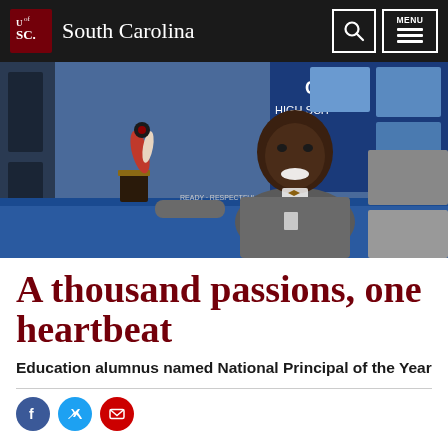University of South Carolina
[Figure (photo): Man in gray jacket with bow tie smiling behind a table with a trophy award, in front of a banner reading 'Chapel High School Ready, Respectful, Responsible']
A thousand passions, one heartbeat
Education alumnus named National Principal of the Year